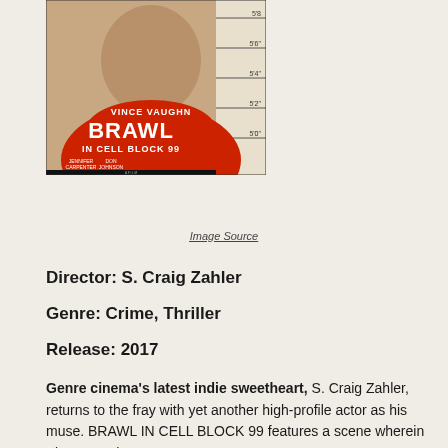[Figure (photo): Movie poster for 'Brawl in Cell Block 99' featuring Vince Vaughn in a red prison uniform against a mugshot height chart background]
Image Source
Director: S. Craig Zahler
Genre: Crime, Thriller
Release: 2017
Genre cinema's latest indie sweetheart, S. Craig Zahler, returns to the fray with yet another high-profile actor as his muse. BRAWL IN CELL BLOCK 99 features a scene wherein Vince Vaughn's